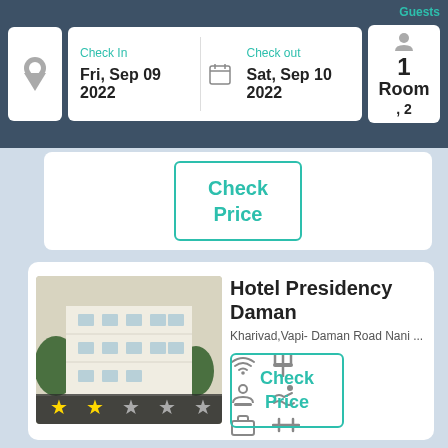Guests
Check In: Fri, Sep 09 2022
Check out: Sat, Sep 10 2022
1 Room, 2 Guests
Guests
Check Price
Hotel Presidency Daman
Kharivad,Vapi- Daman Road Nani ...
27 Reviews
Check Price